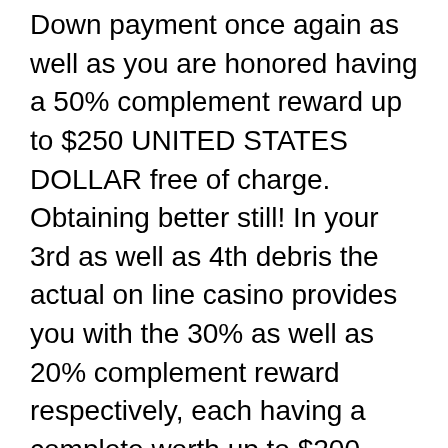Down payment once again as well as you are honored having a 50% complement reward up to $250 UNITED STATES DOLLAR free of charge. Obtaining better still! In your 3rd as well as 4th debris the actual on line casino provides you with the 30% as well as 20% complement reward respectively, each having a complete worth up to $200 UNITED STATES DOLLAR free of charge. Last but not least, (getting better still still), your own 6th down payment will dsicover a person leave having a 10% complement reward up to $200 UNITED STATES DOLLAR free of charge. Which is a great complete associated with $1, 000 UNITED STATES DOLLAR within bonus deals to begin actively playing from Villento On line casino : very few casinos may complement which. When it comes to in